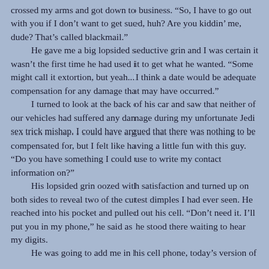crossed my arms and got down to business. “So, I have to go out with you if I don’t want to get sued, huh? Are you kiddin’ me, dude? That’s called blackmail.”

He gave me a big lopsided seductive grin and I was certain it wasn’t the first time he had used it to get what he wanted. “Some might call it extortion, but yeah...I think a date would be adequate compensation for any damage that may have occurred.”

I turned to look at the back of his car and saw that neither of our vehicles had suffered any damage during my unfortunate Jedi sex trick mishap. I could have argued that there was nothing to be compensated for, but I felt like having a little fun with this guy. “Do you have something I could use to write my contact information on?”

His lopsided grin oozed with satisfaction and turned up on both sides to reveal two of the cutest dimples I had ever seen. He reached into his pocket and pulled out his cell. “Don’t need it. I’ll put you in my phone,” he said as he stood there waiting to hear my digits.

He was going to add me in his cell phone, today’s version of